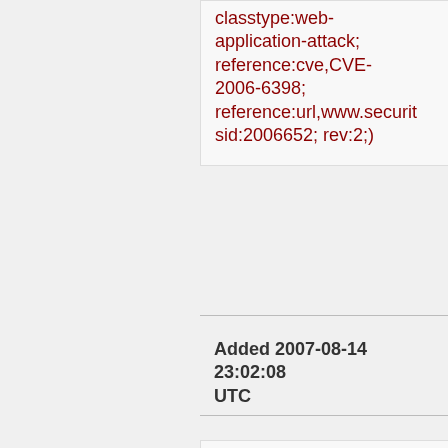classtype:web-application-attack; reference:cve,CVE-2006-6398; reference:url,www.securit sid:2006652; rev:2;)
Added 2007-08-14 23:02:08 UTC
alert tcp $EXTERNAL_NET any -> $HTTP_SERVERS $HTTP_PORTS (msg:"BLEEDING-EDGE WEB Superfreaker Studios UPublisher SQL Injection Attempt --